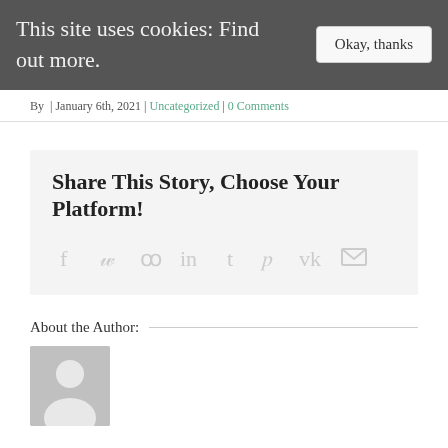This site uses cookies: Find out more. | Okay, thanks
By  | January 6th, 2021 | Uncategorized | 0 Comments
Share This Story, Choose Your Platform!
[Figure (infographic): Social media share icons: Facebook, Twitter, Reddit, LinkedIn, Tumblr, Pinterest, VK, Email]
About the Author:
[Figure (photo): Default author avatar placeholder — grey square with white silhouette of a person]